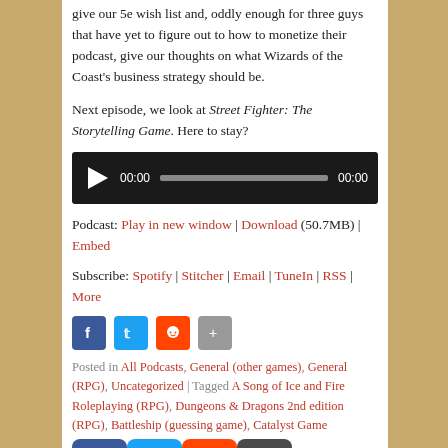give our 5e wish list and, oddly enough for three guys that have yet to figure out to how to monetize their podcast, give our thoughts on what Wizards of the Coast's business strategy should be.
Next episode, we look at Street Fighter: The Storytelling Game. Here to stay?
[Figure (other): Audio player widget with black background, play button, time displays showing 00:00, and progress bar]
Podcast: Play in new window | Download (50.7MB) | Embed
Subscribe: Spotify | Stitcher | Email | TuneIn | RSS | More
[Figure (infographic): Social sharing icons row: Facebook (blue), Twitter (light blue), Reddit (orange), Share (gray)]
Posted in All Podcasts, General (other games), General (RPG), Uncategorized | Tagged A Song of Ice and Fire Roleplaying (RPG), Dungeons & Dragons 2nd edition (RPG), Battleship (guessing game), Catalyst Game
[Figure (infographic): Large social sharing overlay icons: Facebook, Twitter, Reddit, Share]